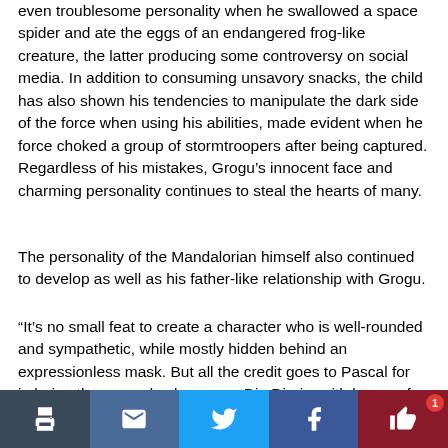even troublesome personality when he swallowed a space spider and ate the eggs of an endangered frog-like creature, the latter producing some controversy on social media. In addition to consuming unsavory snacks, the child has also shown his tendencies to manipulate the dark side of the force when using his abilities, made evident when he force choked a group of stormtroopers after being captured. Regardless of his mistakes, Grogu's innocent face and charming personality continues to steal the hearts of many.
The personality of the Mandalorian himself also continued to develop as well as his father-like relationship with Grogu.
“It’s no small feat to create a character who is well-rounded and sympathetic, while mostly hidden behind an expressionless mask. But all the credit goes to Pascal for imbuing the man, also known as Din Djarin, with layers of ever-present depth whether we see his face in every episode or not,” said freelance writer Zaki Hasan on datebok.com
Originally ... for the chi...
[Figure (infographic): Social sharing toolbar with print, email, Twitter, Facebook, and like buttons. A red badge with number 1 appears on the like button.]